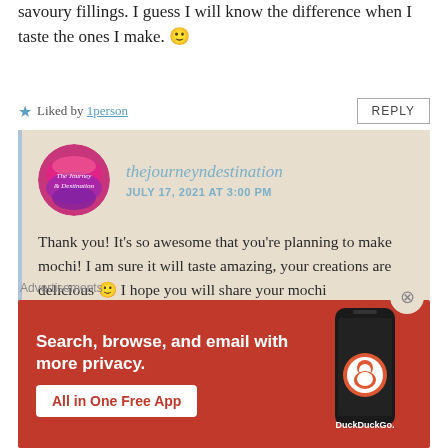savoury fillings. I guess I will know the difference when I taste the ones I make. 🙂
★ Liked by 1person   REPLY
thejourneyndestination
JULY 17, 2021 AT 3:00 PM
Thank you! It's so awesome that you're planning to make mochi! I am sure it will taste amazing, your creations are delicious 🙂 I hope you will share your mochi
Advertisements
[Figure (screenshot): DuckDuckGo advertisement banner showing 'Search, browse, and email with more privacy. All in One Free App' on orange background with phone graphic and DuckDuckGo logo]